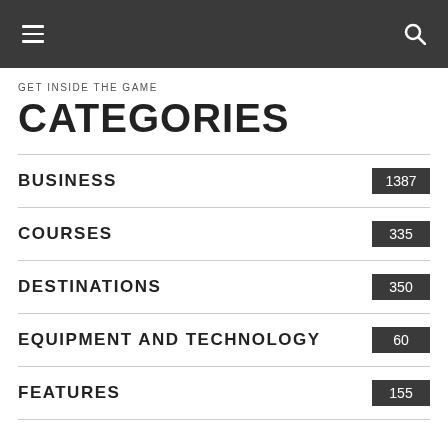GET INSIDE THE GAME
CATEGORIES
BUSINESS 1387
COURSES 335
DESTINATIONS 350
EQUIPMENT AND TECHNOLOGY 60
FEATURES 155